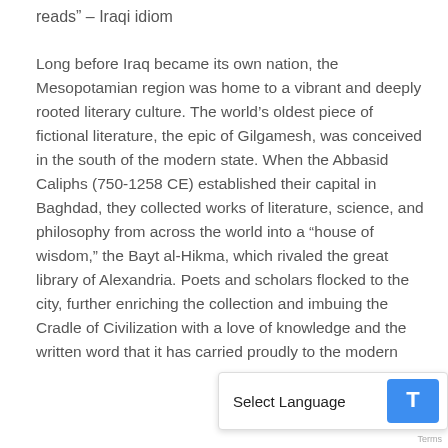reads” – Iraqi idiom
Long before Iraq became its own nation, the Mesopotamian region was home to a vibrant and deeply rooted literary culture. The world’s oldest piece of fictional literature, the epic of Gilgamesh, was conceived in the south of the modern state. When the Abbasid Caliphs (750-1258 CE) established their capital in Baghdad, they collected works of literature, science, and philosophy from across the world into a “house of wisdom,” the Bayt al-Hikma, which rivaled the great library of Alexandria. Poets and scholars flocked to the city, further enriching the collection and imbuing the Cradle of Civilization with a love of knowledge and the written word that it has carried proudly to the modern